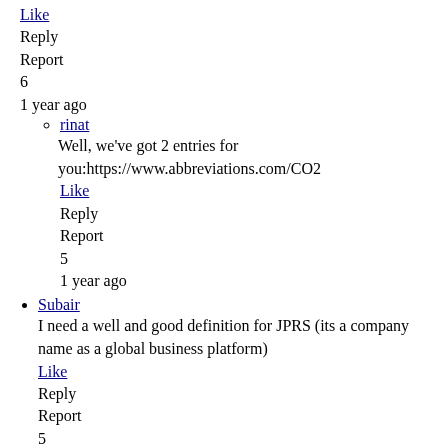Like
Reply
Report
6
1 year ago
rinat
Well, we've got 2 entries for you:https://www.abbreviations.com/CO2
Like
Reply
Report
5
1 year ago
Subair
I need a well and good definition for JPRS (its a company name as a global business platform)
Like
Reply
Report
5
1 year ago
rinat
We've got 5 entries for you: https://www.abbreviations.com/JPRS
Like
Reply